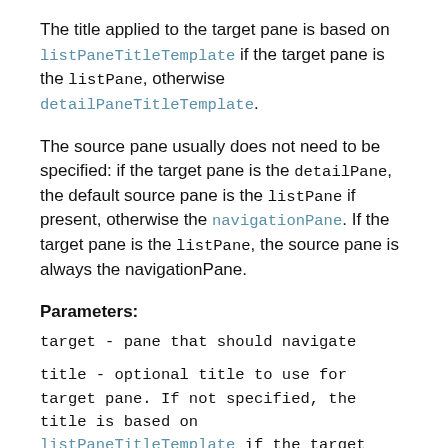The title applied to the target pane is based on listPaneTitleTemplate if the target pane is the listPane, otherwise detailPaneTitleTemplate.
The source pane usually does not need to be specified: if the target pane is the detailPane, the default source pane is the listPane if present, otherwise the navigationPane. If the target pane is the listPane, the source pane is always the navigationPane.
Parameters:
target - pane that should navigate
title - optional title to use for target pane. If not specified, the title is based on listPaneTitleTemplate if the target pane is the listPane, otherwise